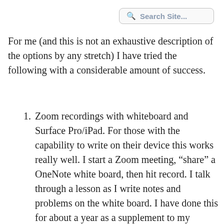[Figure (screenshot): Search Site... input box with magnifying glass icon, top right corner]
For me (and this is not an exhaustive description of the options by any stretch) I have tried the following with a considerable amount of success.
Zoom recordings with whiteboard and Surface Pro/iPad.  For those with the capability to write on their device this works really well.  I start a Zoom meeting, "share" a OneNote white board, then hit record.  I talk through a lesson as I write notes and problems on the white board.  I have done this for about a year as a supplement to my lectures and the students seem to like it.  When I end the meeting, I have the choice to save to the cloud or my device, and regardless of where it is saved,